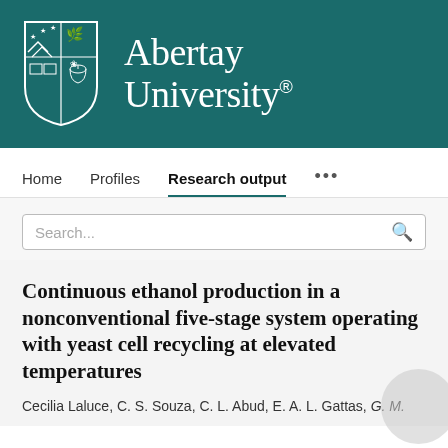[Figure (logo): Abertay University logo with shield/crest and university name in white on teal background]
Home   Profiles   Research output   ...
Search...
Continuous ethanol production in a nonconventional five-stage system operating with yeast cell recycling at elevated temperatures
Cecilia Laluce, C. S. Souza, C. L. Abud, E. A. L. Gattas, G. M.